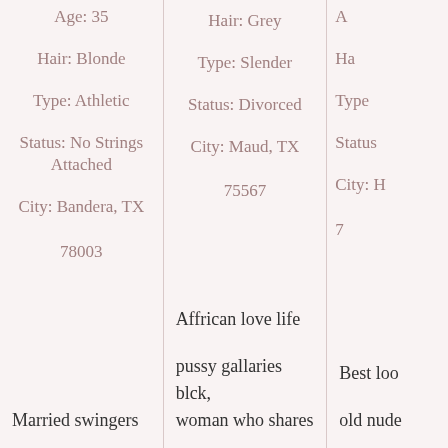Age: 35
Hair: Blonde
Type: Athletic
Status: No Strings Attached
City: Bandera, TX 78003
Married swingers
Hair: Grey
Type: Slender
Status: Divorced
City: Maud, TX 75567
Affrican love life
pussy gallaries blck, woman who shares
Ha...
Type...
Status...
City: H... 7...
Best loo... old nude